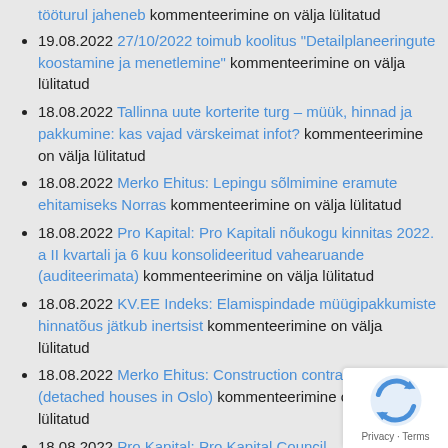tööturul jaheneb kommenteerimine on välja lülitatud
19.08.2022 27/10/2022 toimub koolitus "Detailplaneeringute koostamine ja menetlemine" kommenteerimine on välja lülitatud
18.08.2022 Tallinna uute korterite turg – müük, hinnad ja pakkumine: kas vajad värskeimat infot? kommenteerimine on välja lülitatud
18.08.2022 Merko Ehitus: Lepingu sõlmimine eramute ehitamiseks Norras kommenteerimine on välja lülitatud
18.08.2022 Pro Kapital: Pro Kapitali nõukogu kinnitas 2022. a II kvartali ja 6 kuu konsolideeritud vahearuande (auditeerimata) kommenteerimine on välja lülitatud
18.08.2022 KV.EE Indeks: Elamispindade müügipakkumiste hinnatõus jätkub inertsist kommenteerimine on välja lülitatud
18.08.2022 Merko Ehitus: Construction contract in Norway (detached houses in Oslo) kommenteerimine on välja lülitatud
18.08.2022 Pro Kapital: Pro Kapital Council